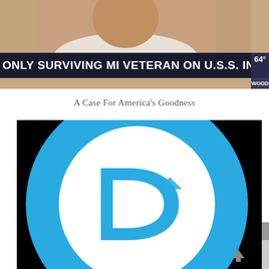[Figure (screenshot): Top portion of a news broadcast screenshot showing a person, with a news ticker/chyron reading 'ONLY SURVIVING MI VETERAN ON U.S.S. INDIANAPOLIS' with '64°' and 'WOOD' station bug visible]
A Case For America's Goodness
[Figure (logo): Democratic Party logo - circular blue ring on black background with large white circle in center containing a blue letter D]